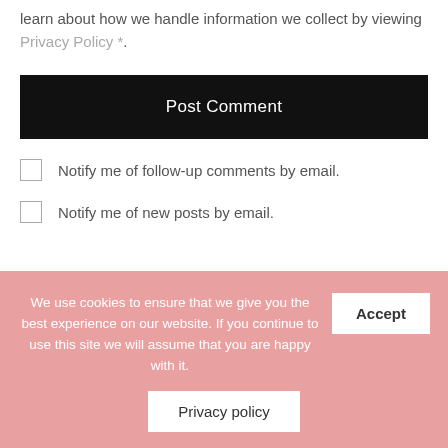learn about how we handle information we collect by viewing Privacy Policy *.
Post Comment
Notify me of follow-up comments by email.
Notify me of new posts by email.
We use cookies to ensure that we give you the best experience on our website. If you continue to use this site we will assume that you are happy with it.
Accept
Privacy policy